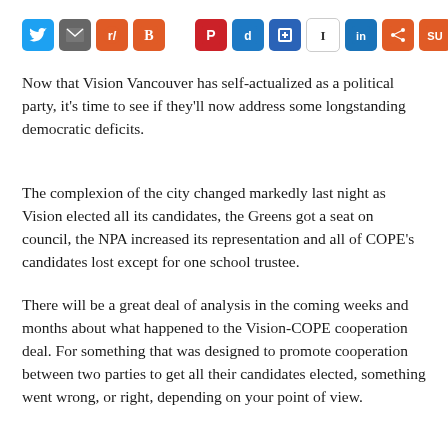[Figure (other): Social media sharing icons bar including Twitter, Email, Reddit, Blogger, Pinterest, Digg, a box icon, Instapaper, LinkedIn, Share, StumbleUpon, Tumblr, and WordPress]
Now that Vision Vancouver has self-actualized as a political party, it's time to see if they'll now address some longstanding democratic deficits.
The complexion of the city changed markedly last night as Vision elected all its candidates, the Greens got a seat on council, the NPA increased its representation and all of COPE's candidates lost except for one school trustee.
There will be a great deal of analysis in the coming weeks and months about what happened to the Vision-COPE cooperation deal. For something that was designed to promote cooperation between two parties to get all their candidates elected, something went wrong, or right, depending on your point of view.